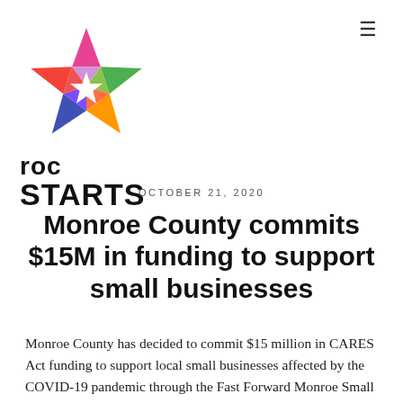[Figure (logo): ROC Starts colorful star/pentagon logo with triangular segments in multiple colors (pink, green, orange, blue, purple, red, teal, yellow)]
roc STARTS
OCTOBER 21, 2020
Monroe County commits $15M in funding to support small businesses
Monroe County has decided to commit $15 million in CARES Act funding to support local small businesses affected by the COVID-19 pandemic through the Fast Forward Monroe Small Business Grant Program.